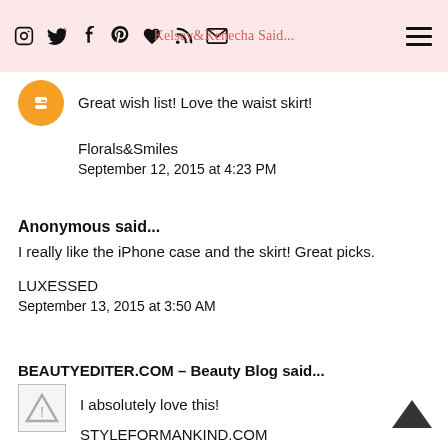Kelsey&Kenecha Said...
Great wish list! Love the waist skirt!
Florals&Smiles
September 12, 2015 at 4:23 PM
Anonymous said...
I really like the iPhone case and the skirt! Great picks.
LUXESSED
September 13, 2015 at 3:50 AM
BEAUTYEDITER.COM – Beauty Blog said...
I absolutely love this!
STYLEFORMANKIND.COM
Facebook